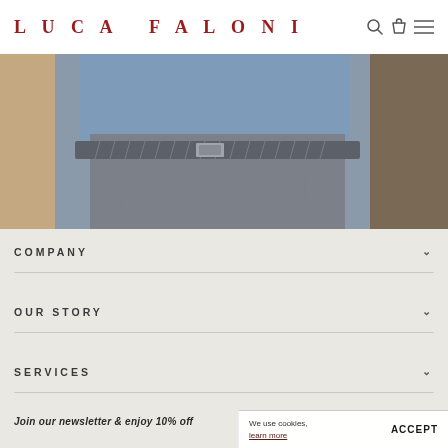LUCA FALONI
[Figure (photo): Close-up photo of a man wearing a blue shirt, grey braided belt, and grey trousers, standing against a stone/hay background.]
COMPANY
OUR STORY
SERVICES
Join our newsletter & enjoy 10% off
We use cookies, learn more
ACCEPT